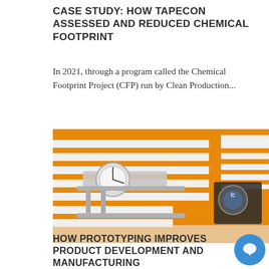CASE STUDY: HOW TAPECON ASSESSED AND REDUCED CHEMICAL FOOTPRINT
In 2021, through a program called the Chemical Footprint Project (CFP) run by Clean Production...
[Figure (photo): Close-up photo of orange and white adhesive tape strips on a flat surface, with a dial caliper gauge and a compass/measuring tool placed on top. A chatbot popup overlay appears in the lower right of the image.]
HOW PROTOTYPING IMPROVES PRODUCT DEVELOPMENT AND MANUFACTURING